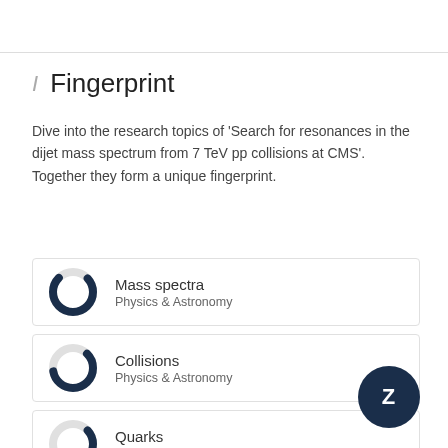Fingerprint
Dive into the research topics of 'Search for resonances in the dijet mass spectrum from 7 TeV pp collisions at CMS'. Together they form a unique fingerprint.
[Figure (infographic): Donut chart icon with dark navy fill for Mass spectra, Physics & Astronomy category card]
Mass spectra
Physics & Astronomy
[Figure (infographic): Donut chart icon with dark navy fill for Collisions, Physics & Astronomy category card]
Collisions
Physics & Astronomy
[Figure (infographic): Donut chart icon with dark navy fill for Quarks, Physics & Astronomy category card]
Quarks
Physics & Astronomy
[Figure (infographic): Donut chart icon with dark navy fill for Gluons, Physics & Astronomy category card]
Gluons
Physics & Astronomy